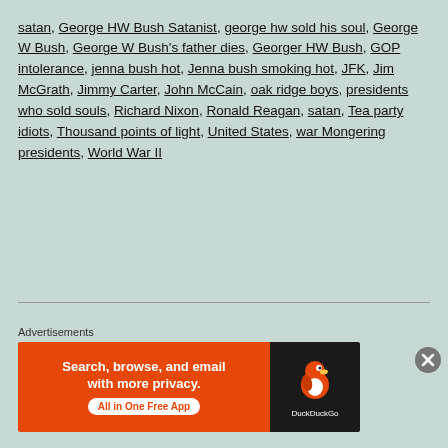satan, George HW Bush Satanist, george hw sold his soul, George W Bush, George W Bush's father dies, Georger HW Bush, GOP intolerance, jenna bush hot, Jenna bush smoking hot, JFK, Jim McGrath, Jimmy Carter, John McCain, oak ridge boys, presidents who sold souls, Richard Nixon, Ronald Reagan, satan, Tea party idiots, Thousand points of light, United States, war Mongering presidents, World War II
[Figure (other): DuckDuckGo advertisement banner with orange left panel saying 'Search, browse, and email with more privacy. All in One Free App' and dark right panel with DuckDuckGo duck logo]
Advertisements